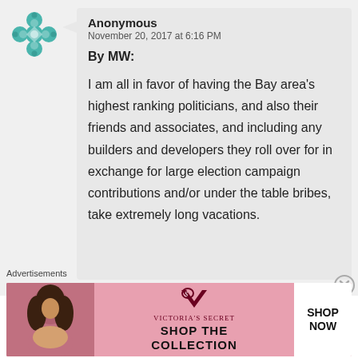[Figure (illustration): Teal decorative flower/cross avatar icon for anonymous commenter]
Anonymous
November 20, 2017 at 6:16 PM
By MW:

I am all in favor of having the Bay area's highest ranking politicians, and also their friends and associates, and including any builders and developers they roll over for in exchange for large election campaign contributions and/or under the table bribes, take extremely long vacations.
Advertisements
[Figure (photo): Victoria's Secret advertisement banner with a woman model on the left, Victoria's Secret logo in the center, text 'SHOP THE COLLECTION' and a white 'SHOP NOW' button on the right. Pink background.]